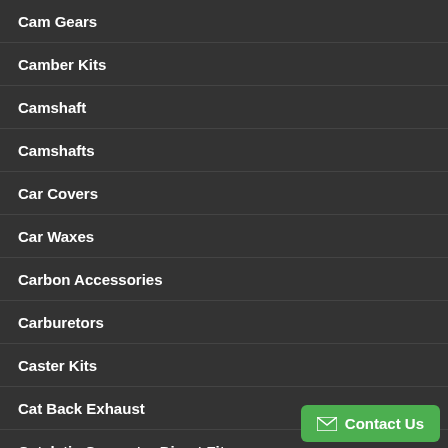Cam Gears
Camber Kits
Camshaft
Camshafts
Car Covers
Car Waxes
Carbon Accessories
Carburetors
Caster Kits
Cat Back Exhaust
Catalytic Converter Direct Fit